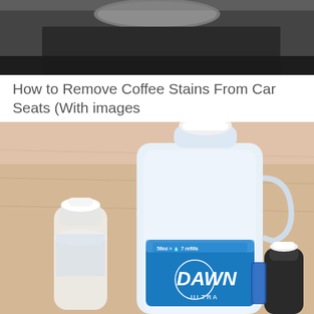[Figure (photo): Top portion of a photo showing what appears to be a car interior or dark surface with a round object, blurred background]
How to Remove Coffee Stains From Car Seats (With images
[Figure (photo): Photo of cleaning supplies on a wooden surface: a water bottle on the left, a large jug of Dawn Ultra dish soap (56oz, 7 refills) in the center, and a small dark bottle on the right with blue liquid visible]